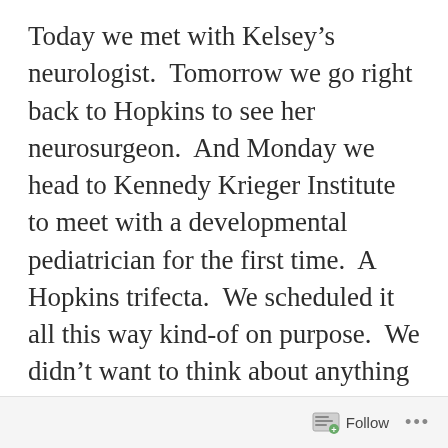Today we met with Kelsey’s neurologist.  Tomorrow we go right back to Hopkins to see her neurosurgeon.  And Monday we head to Kennedy Krieger Institute to meet with a developmental pediatrician for the first time.  A Hopkins trifecta.  We scheduled it all this way kind-of on purpose.  We didn’t want to think about anything to do with these appointments or what may come of them during the beginning of summer, around our tenth anniversary, or during any of our vacations this
Follow ...